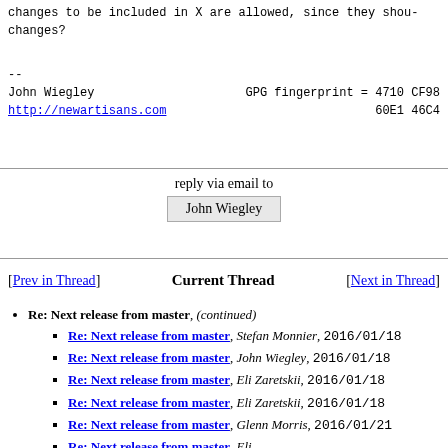changes to be included in X are allowed, since they shou- changes?
--
John Wiegley    GPG fingerprint = 4710 CF98
http://newartisans.com    60E1 46C4
reply via email to
John Wiegley
[Prev in Thread]  Current Thread  [Next in Thread]
Re: Next release from master, (continued)
Re: Next release from master, Stefan Monnier, 2016/01/18
Re: Next release from master, John Wiegley, 2016/01/18
Re: Next release from master, Eli Zaretskii, 2016/01/18
Re: Next release from master, Eli Zaretskii, 2016/01/18
Re: Next release from master, Glenn Morris, 2016/01/21
Re: Next release from master, Eli